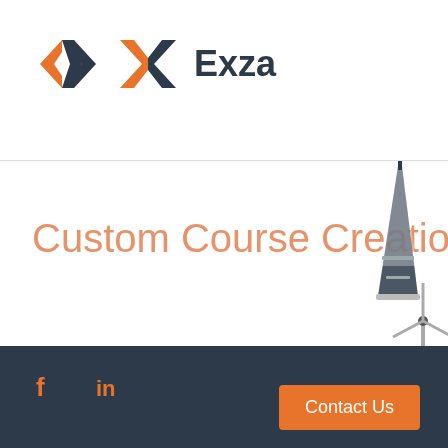[Figure (logo): Exza logo with orange and dark blue geometric X icon and 'Exza' text in dark blue]
Custom Course Creation
[Figure (illustration): Eiffel Tower and wind turbine illustration in grey tones, partially visible on right side]
[Figure (logo): Facebook icon 'f' in orange]
[Figure (logo): LinkedIn icon 'in' in orange]
Contact Us